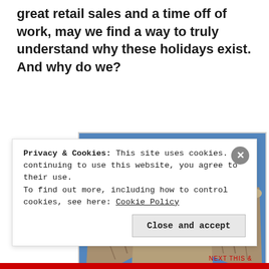great retail sales and a time off of work, may we find a way to truly understand why these holidays exist. And why do we?
[Figure (photo): Photograph of a large Art Deco statue of a robed figure with arms outstretched holding a decorative garment, photographed from below against a blue sky. The statue has geometric diamond patterns in blue and teal at its base.]
Privacy & Cookies: This site uses cookies. By continuing to use this website, you agree to their use.
To find out more, including how to control cookies, see here: Cookie Policy
Close and accept